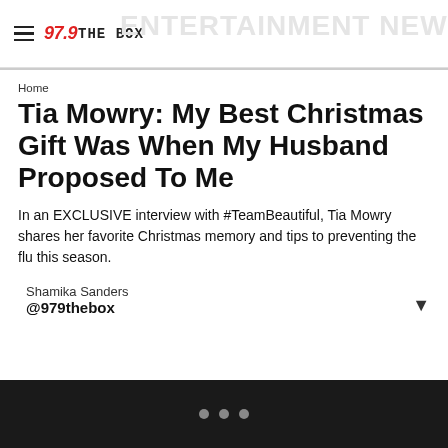97.9 THE BOX — ENTERTAINMENT NEWS
Home
Tia Mowry: My Best Christmas Gift Was When My Husband Proposed To Me
In an EXCLUSIVE interview with #TeamBeautiful, Tia Mowry shares her favorite Christmas memory and tips to preventing the flu this season.
Shamika Sanders
@979thebox
...